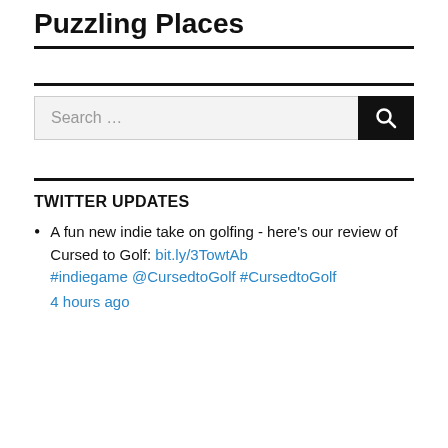Puzzling Places
TWITTER UPDATES
A fun new indie take on golfing - here's our review of Cursed to Golf: bit.ly/3TowtAb #indiegame @CursedtoGolf #CursedtoGolf 4 hours ago